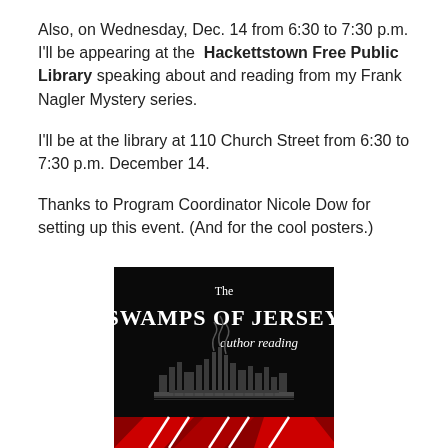Also, on Wednesday, Dec. 14 from 6:30 to 7:30 p.m. I'll be appearing at the Hackettstown Free Public Library speaking about and reading from my Frank Nagler Mystery series.
I'll be at the library at 110 Church Street from 6:30 to 7:30 p.m. December 14.
Thanks to Program Coordinator Nicole Dow for setting up this event. (And for the cool posters.)
[Figure (illustration): Book event poster with black background showing 'The SWAMPS OF JERSEY author reading' text with industrial skyline silhouette illustration and red graphic element at bottom.]